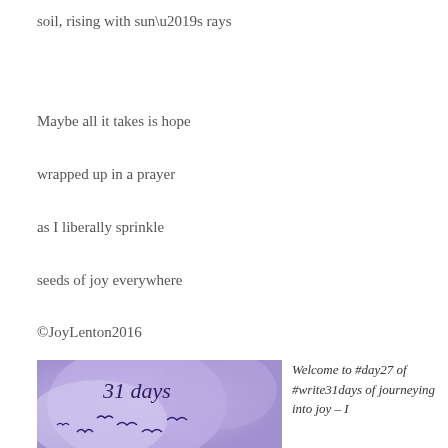soil, rising with sun’s rays
Maybe all it takes is hope
wrapped up in a prayer
as I liberally sprinkle
seeds of joy everywhere
©JoyLenton2016
[Figure (illustration): Purple watercolor background with '31 days' text and silhouettes of birds in flight]
Welcome to #day27 of #write31days of journeying into joy – I